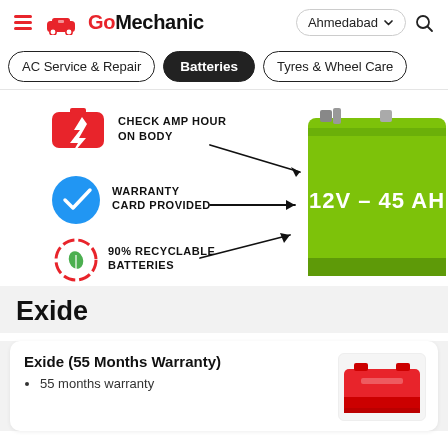GoMechanic — Ahmedabad
AC Service & Repair
Batteries
Tyres & Wheel Care
[Figure (infographic): Battery infographic showing: CHECK AMP HOUR ON BODY (red battery icon), WARRANTY CARD PROVIDED (blue verified checkmark), 90% RECYCLABLE BATTERIES (green recycle icon), with a green 12V - 45 AH car battery image on the right with arrows pointing to it.]
Exide
Exide (55 Months Warranty)
55 months warranty